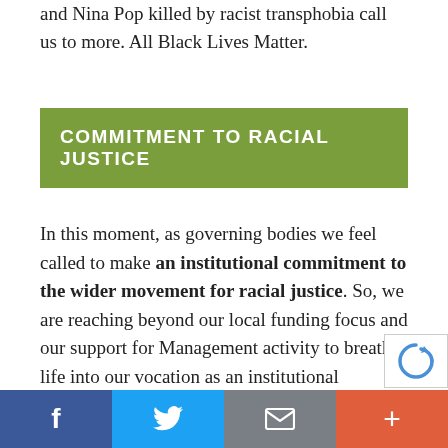and Nina Pop killed by racist transphobia call us to more. All Black Lives Matter.
COMMITMENT TO RACIAL JUSTICE
In this moment, as governing bodies we feel called to make an institutional commitment to the wider movement for racial justice. So, we are reaching beyond our local funding focus and our support for Management activity to breathe life into our vocation as an institutional advocate for racial justice. Our initial efforts include the following, and we invite you to join us.
Facebook | Twitter | Email | More